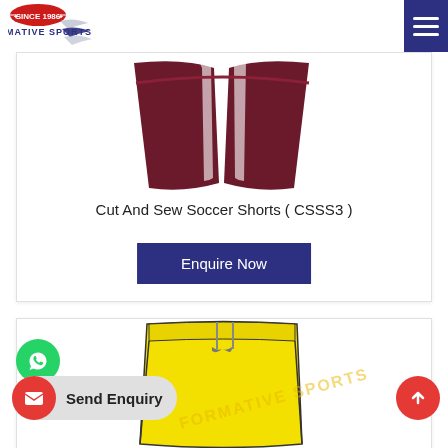Formative Sports - Since 1986
[Figure (illustration): Dark maroon/burgundy cut and sew soccer shorts product image, top portion visible]
Cut And Sew Soccer Shorts ( CSSS3 )
Enquire Now
[Figure (illustration): Yellow soccer/sports shorts product image with drawstring, watermarked with FORMATIVE SPORTS text]
Send Enquiry